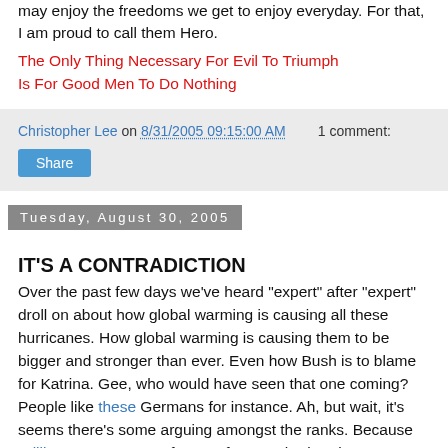may enjoy the freedoms we get to enjoy everyday. For that, I am proud to call them Hero.
The Only Thing Necessary For Evil To Triumph
Is For Good Men To Do Nothing
Christopher Lee on 8/31/2005 09:15:00 AM   1 comment:
Share
Tuesday, August 30, 2005
IT'S A CONTRADICTION
Over the past few days we've heard "expert" after "expert" droll on about how global warming is causing all these hurricanes. How global warming is causing them to be bigger and stronger than ever. Even how Bush is to blame for Katrina. Gee, who would have seen that one coming? People like these Germans for instance. Ah, but wait, it's seems there's some arguing amongst the ranks. Because William M. Gray, a professor of atmospheric science at Colorado State University, and Kerry A. Emanuel, a hurricane expert at the Massachusetts Institute of